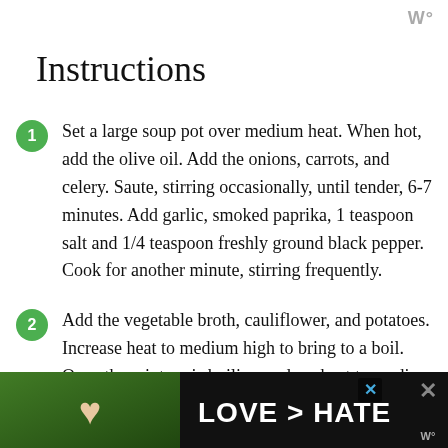W°
Instructions
Set a large soup pot over medium heat. When hot, add the olive oil. Add the onions, carrots, and celery. Saute, stirring occasionally, until tender, 6-7 minutes. Add garlic, smoked paprika, 1 teaspoon salt and 1/4 teaspoon freshly ground black pepper. Cook for another minute, stirring frequently.
Add the vegetable broth, cauliflower, and potatoes. Increase heat to medium high to bring to a boil. Once the mixture is boiling, reduce heat to medium low. Simmer,
[Figure (photo): Advertisement banner at the bottom showing hands forming a heart shape against a green background, with text 'LOVE > HATE' in white bold letters on a dark background. Close buttons visible.]